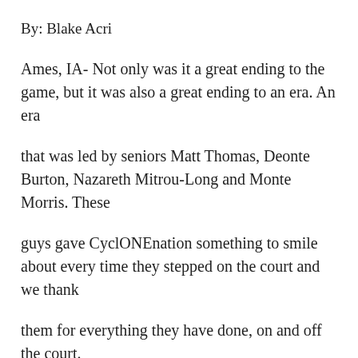By: Blake Acri
Ames, IA- Not only was it a great ending to the game, but it was also a great ending to an era. An era
that was led by seniors Matt Thomas, Deonte Burton, Nazareth Mitrou-Long and Monte Morris. These
guys gave CyclONEnation something to smile about every time they stepped on the court and we thank
them for everything they have done, on and off the court.
The game was another nail-biter as the Iowa State Cyclones edged out the Oklahoma State Cowboys 86-
83. All seniors contributed in one way or another and the